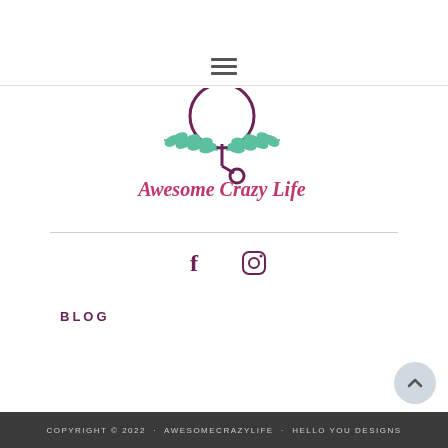[Figure (other): Hamburger menu icon (three horizontal lines)]
[Figure (logo): Awesome Crazy Life logo with teal leaf branches and pink cursive text]
[Figure (other): Social media icons: Facebook (f) and Instagram camera icon, in dark purple/maroon color]
BLOG
[Figure (other): Back to top button - circular light gray button with upward chevron arrow]
COPYRIGHT © 2022 · AWESOMECRAZYLIFE · HELLO YOU DESIGNS